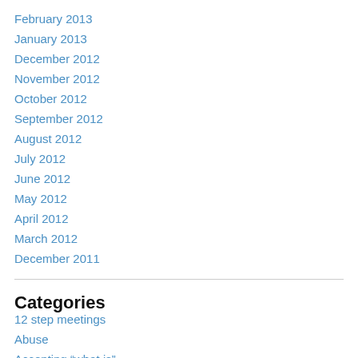February 2013
January 2013
December 2012
November 2012
October 2012
September 2012
August 2012
July 2012
June 2012
May 2012
April 2012
March 2012
December 2011
Categories
12 step meetings
Abuse
Accepting "what is"